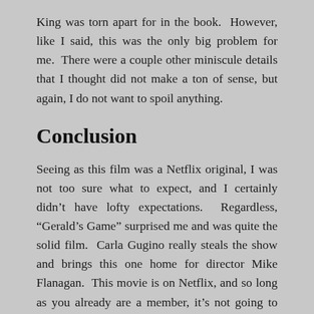King was torn apart for in the book.  However, like I said, this was the only big problem for me.  There were a couple other miniscule details that I thought did not make a ton of sense, but again, I do not want to spoil anything.
Conclusion
Seeing as this film was a Netflix original, I was not too sure what to expect, and I certainly didn’t have lofty expectations.  Regardless, “Gerald’s Game” surprised me and was quite the solid film.  Carla Gugino really steals the show and brings this one home for director Mike Flanagan.  This movie is on Netflix, and so long as you already are a member, it’s not going to cost you anything to watch it.  Therefore, I highly recommend that you do.